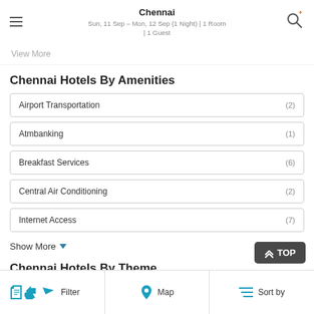Chennai
Sun, 11 Sep – Mon, 12 Sep (1 Night) | 1 Room | 1 Guest
View More
Chennai Hotels By Amenities
Airport Transportation (2)
Atmbanking (1)
Breakfast Services (6)
Central Air Conditioning (2)
Internet Access (7)
Show More
Chennai Hotels By Theme
Filter   Map   Sort by